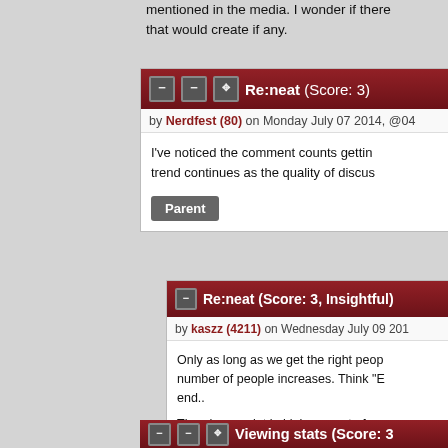mentioned in the media. I wonder if there that would create if any.
Re:neat (Score: 3)
by Nerdfest (80) on Monday July 07 2014, @04
I've noticed the comment counts gettin trend continues as the quality of discus
Parent
Re:neat (Score: 3, Insightful)
by kaszz (4211) on Wednesday July 09 201
Only as long as we get the right peop number of people increases. Think "E end..
There's no point in high amount of co comes out of it that matters. Unless matters. Like when searching or mat
Parent
Viewing stats (Score: 3